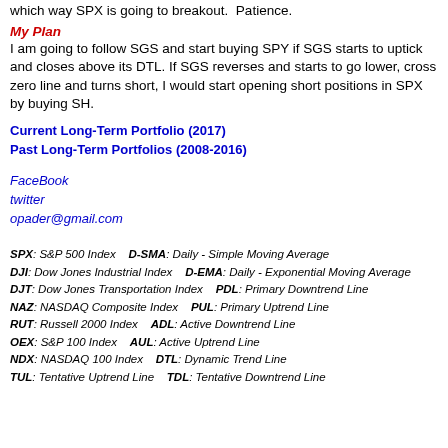We're experiencing the calm before the storm. I don't know which way SPX is going to breakout. Patience.
My Plan
I am going to follow SGS and start buying SPY if SGS starts to uptick and closes above its DTL. If SGS reverses and starts to go lower, cross zero line and turns short, I would start opening short positions in SPX by buying SH.
Current Long-Term Portfolio (2017)
Past Long-Term Portfolios (2008-2016)
FaceBook
twitter
opader@gmail.com
SPX: S&P 500 Index    D-SMA: Daily - Simple Moving Average
DJI: Dow Jones Industrial Index    D-EMA: Daily - Exponential Moving Average
DJT: Dow Jones Transportation Index    PDL: Primary Downtrend Line
NAZ: NASDAQ Composite Index    PUL: Primary Uptrend Line
RUT: Russell 2000 Index    ADL: Active Downtrend Line
OEX: S&P 100 Index    AUL: Active Uptrend Line
NDX: NASDAQ 100 Index    DTL: Dynamic Trend Line
TUL: Tentative Uptrend Line    TDL: Tentative Downtrend Line